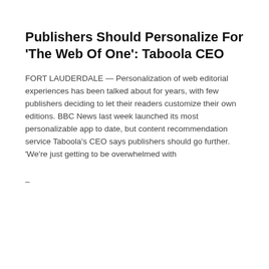Publishers Should Personalize For 'The Web Of One': Taboola CEO
FORT LAUDERDALE — Personalization of web editorial experiences has been talked about for years, with few publishers deciding to let their readers customize their own editions. BBC News last week launched its most personalizable app to date, but content recommendation service Taboola's CEO says publishers should go further. 'We're just getting to be overwhelmed with
–